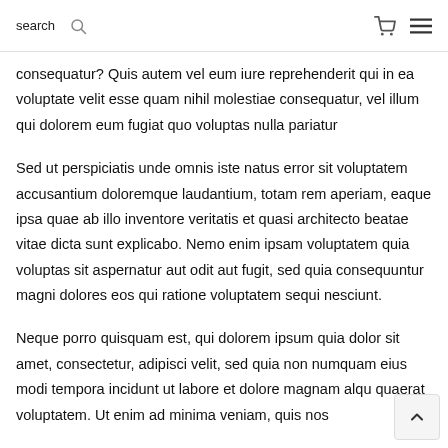search
consequatur? Quis autem vel eum iure reprehenderit qui in ea voluptate velit esse quam nihil molestiae consequatur, vel illum qui dolorem eum fugiat quo voluptas nulla pariatur
Sed ut perspiciatis unde omnis iste natus error sit voluptatem accusantium doloremque laudantium, totam rem aperiam, eaque ipsa quae ab illo inventore veritatis et quasi architecto beatae vitae dicta sunt explicabo. Nemo enim ipsam voluptatem quia voluptas sit aspernatur aut odit aut fugit, sed quia consequuntur magni dolores eos qui ratione voluptatem sequi nesciunt.
Neque porro quisquam est, qui dolorem ipsum quia dolor sit amet, consectetur, adipisci velit, sed quia non numquam eius modi tempora incidunt ut labore et dolore magnam aliq... quaerat voluptatem. Ut enim ad minima veniam, quis nos...